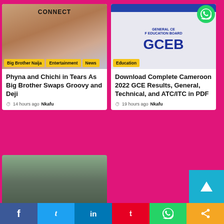CONNECT
[Figure (photo): Close-up photo of two women, one with headphones]
Big Brother Naija | Entertainment | News
Phyna and Chichi in Tears As Big Brother Swaps Groovy and Deji
14 hours ago  Nkafu
[Figure (photo): GCEB General Certificate of Education Board sign]
Education
Download Complete Cameroon 2022 GCE Results, General, Technical, and ATC/ITC in PDF
19 hours ago  Nkafu
[Figure (photo): People outside a courthouse or official building]
Facebook | Twitter | LinkedIn | Pinterest | WhatsApp | Share